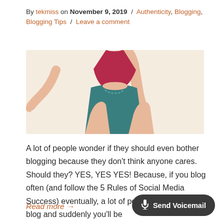By tekmiss on November 9, 2019 / Authenticity, Blogging, Blogging Tips / Leave a comment
[Figure (illustration): Illustration of a woman in a red top and teal skirt, cropped showing torso and legs, arm extended to the side, on a beige background.]
A lot of people wonder if they should even bother blogging because they don't think anyone cares. Should they? YES, YES YES! Because, if you blog often (and follow the 5 Rules of Social Media Success) eventually, a lot of people will notice your blog and suddenly you'll be
Read more →
Send Voicemail